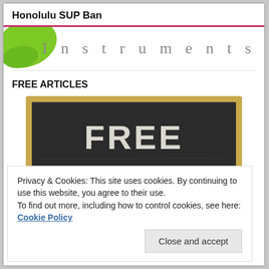Honolulu SUP Ban
[Figure (logo): Website logo banner with green leaf shape on left and 'Instruments' text in gray on right]
FREE ARTICLES
[Figure (illustration): Chalkboard image with 'FREE' written in chalk lettering]
Privacy & Cookies: This site uses cookies. By continuing to use this website, you agree to their use.
To find out more, including how to control cookies, see here: Cookie Policy
Close and accept